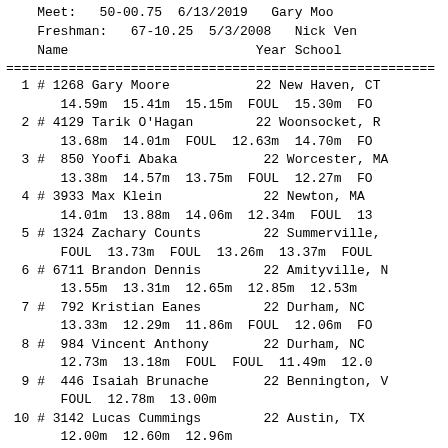Meet: 50-00.75 6/13/2019 Gary Moo
    Freshman:   67-10.25  5/3/2008   Nick Ven
    Name                        Year School
| # | ID | Name | Year | School | Attempts |
| --- | --- | --- | --- | --- | --- |
| 1 | 1268 | Gary Moore | 22 | New Haven, CT | 14.59m  15.41m  15.15m  FOUL  15.30m  FO |
| 2 | 4129 | Tarik O'Hagan | 22 | Woonsocket, R | 13.68m  14.01m  FOUL  12.63m  14.70m  FO |
| 3 | 850 | Yoofi Abaka | 22 | Worcester, MA | 13.38m  14.57m  13.75m  FOUL  12.27m  FO |
| 4 | 3933 | Max Klein | 22 | Newton, MA | 14.01m  13.88m  14.06m  12.34m  FOUL  13 |
| 5 | 1324 | Zachary Counts | 22 | Summerville, | FOUL  13.73m  FOUL  13.26m  13.37m  FOUL |
| 6 | 6711 | Brandon Dennis | 22 | Amityville, N | 13.55m  13.31m  12.65m  12.85m  12.53m |
| 7 | 792 | Kristian Eanes | 22 | Durham, NC | 13.33m  12.29m  11.86m  FOUL  12.06m  FO |
| 8 | 984 | Vincent Anthony | 22 | Durham, NC | 12.73m  13.18m  FOUL  FOUL  11.49m  12.0 |
| 9 | 446 | Isaiah Brunache | 22 | Bennington, V | FOUL  12.78m  13.00m |
| 10 | 3142 | Lucas Cummings | 22 | Austin, TX | 12.00m  12.60m  12.96m |
| 11 | 4811 | Ross Bazzichi | 22 | Midlothian, V | 11.60m  12.07m  12.82m |